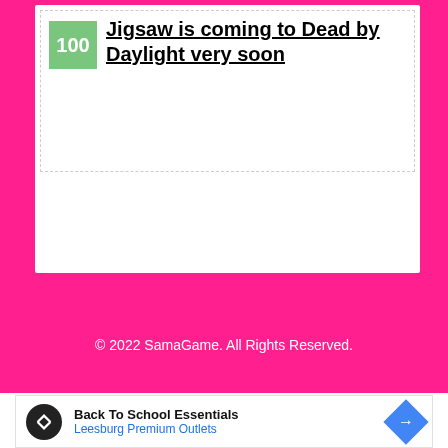Jigsaw is coming to Dead by Daylight very soon
© 2022 SamaGame. All Rights Reserved.
[Figure (infographic): Advertisement banner for Back To School Essentials at Leesburg Premium Outlets with logo and navigation icon]